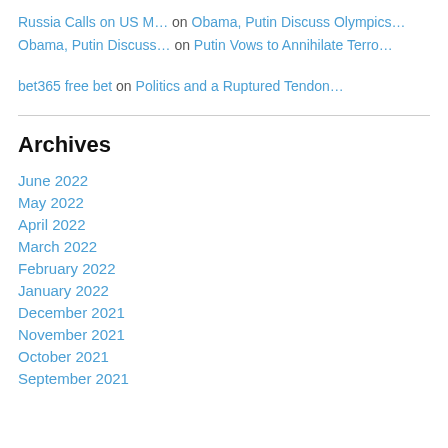Russia Calls on US M… on Obama, Putin Discuss Olympics…
Obama, Putin Discuss… on Putin Vows to Annihilate Terro…
bet365 free bet on Politics and a Ruptured Tendon…
Archives
June 2022
May 2022
April 2022
March 2022
February 2022
January 2022
December 2021
November 2021
October 2021
September 2021